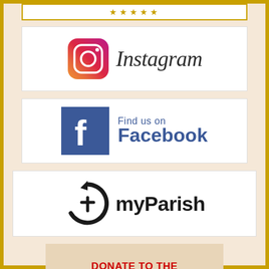[Figure (logo): Stars decorative banner at top with gold star symbols]
[Figure (logo): Instagram logo with gradient camera icon and Instagram wordmark in cursive font]
[Figure (logo): Find us on Facebook logo with Facebook blue square icon and text 'Find us on Facebook']
[Figure (logo): myParish app logo with circular arrow icon and myParish wordmark]
[Figure (infographic): Donate to the Archbishop's Annual Appeal banner in red bold text on tan background]